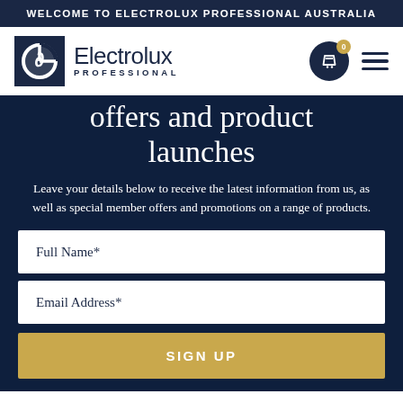WELCOME TO ELECTROLUX PROFESSIONAL AUSTRALIA
[Figure (logo): Electrolux Professional logo with dark navy square icon and wordmark showing 'Electrolux PROFESSIONAL']
offers and product launches
Leave your details below to receive the latest information from us, as well as special member offers and promotions on a range of products.
Full Name*
Email Address*
SIGN UP